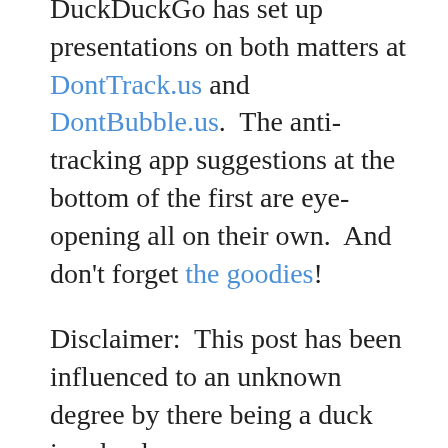DuckDuckGo has set up presentations on both matters at DontTrack.us and DontBubble.us. The anti-tracking app suggestions at the bottom of the first are eye-opening all on their own. And don't forget the goodies!
Disclaimer: This post has been influenced to an unknown degree by there being a duck involved.
[Related: You Need a New Dictionary]
Share: